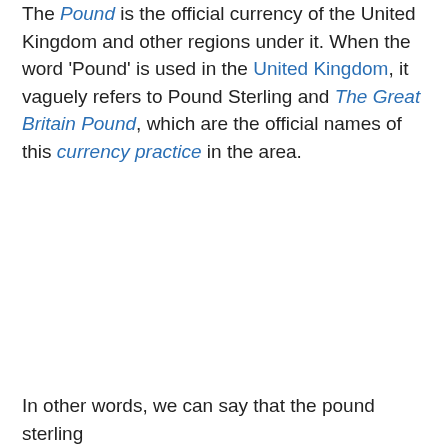The Pound is the official currency of the United Kingdom and other regions under it. When the word 'Pound' is used in the United Kingdom, it vaguely refers to Pound Sterling and The Great Britain Pound, which are the official names of this currency practice in the area.
In other words, we can say that the pound sterling